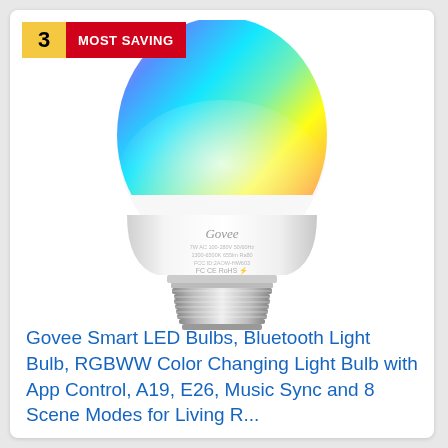[Figure (photo): Govee smart LED light bulb with multicolor RGB globe top showing rainbow colors (pink, blue, green, teal, yellow, orange) and white body with metallic E26 screw base. Brand label visible on bulb body reading 'Govee' with specifications text.]
3 MOST SAVING
Govee Smart LED Bulbs, Bluetooth Light Bulb, RGBWW Color Changing Light Bulb with App Control, A19, E26, Music Sync and 8 Scene Modes for Living Room...